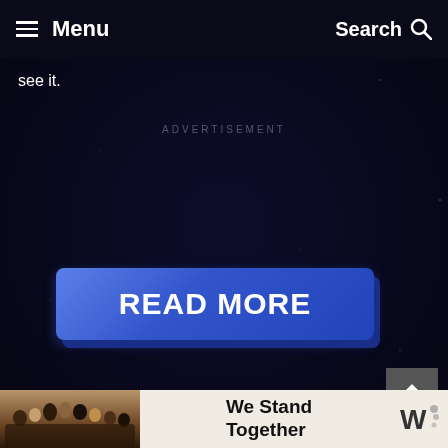Menu   Search
see it.
ADVERTISEMENT
[Figure (other): Large blue READ MORE call-to-action button with 3D shadow effect on dark navy/space background]
[Figure (other): Scroll-to-top button with upward arrow icon, dark grey background]
on Newz Online
[Figure (other): Bottom advertisement banner showing group of people from behind with 'We Stand Together' text and logo]